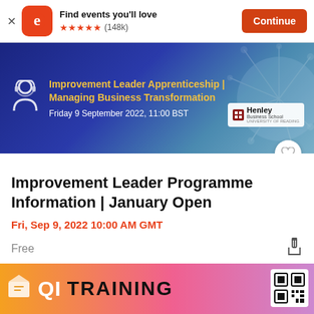[Figure (screenshot): Eventbrite app install banner with orange 'e' logo, 5 star rating (148k reviews), 'Find events you'll love' text, and orange 'Continue' button]
[Figure (photo): Eventbrite event banner for 'Improvement Leader Apprenticeship | Managing Business Transformation' on Friday 9 September 2022 at 11:00 BST, with Henley Business School logo on blue background with dandelion]
Improvement Leader Programme Information | January Open
Fri, Sep 9, 2022 10:00 AM GMT
Free
[Figure (photo): Bottom banner showing 'QI TRAINING' text in bold letters on orange-to-pink gradient background with diploma icon and QR code]